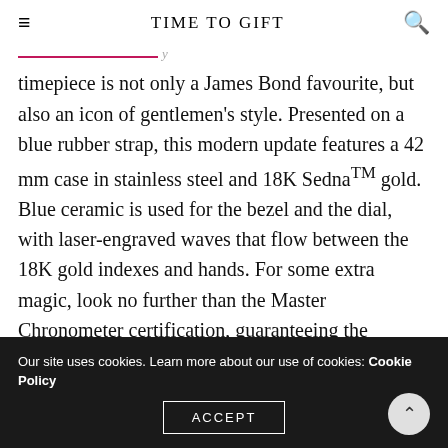TIME TO GIFT
timepiece is not only a James Bond favourite, but also an icon of gentlemen’s style. Presented on a blue rubber strap, this modern update features a 42 mm case in stainless steel and 18K SednaTM gold. Blue ceramic is used for the bezel and the dial, with laser-engraved waves that flow between the 18K gold indexes and hands. For some extra magic, look no further than the Master Chronometer certification, guaranteeing the highest standard of precision, performance and magnetic resistance.
Our site uses cookies. Learn more about our use of cookies: Cookie Policy